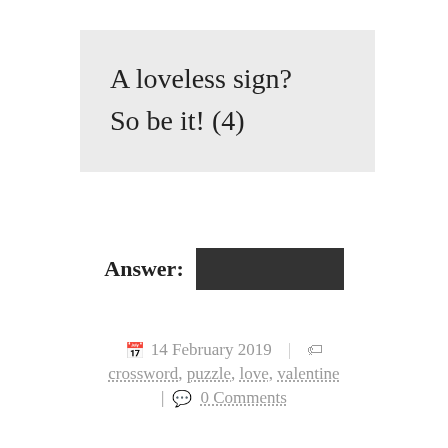A loveless sign? So be it! (4)
Answer: [redacted]
14 February 2019  |  crossword, puzzle, love, valentine  |  0 Comments